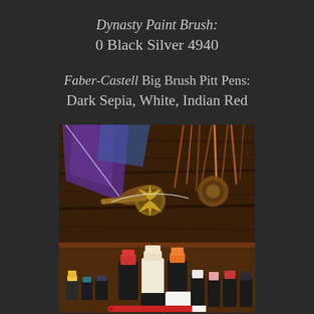Dynasty Paint Brush: 0 Black Silver 4940
Faber-Castell Big Brush Pitt Pens: Dark Sepia, White, Indian Red
[Figure (photo): Photo showing a painting of horse spurs and equipment in dark sepia/copper tones with purple and blue fabric, along with multiple paint bottles and jars of acrylic/mixed media paints arranged in front of the painting.]